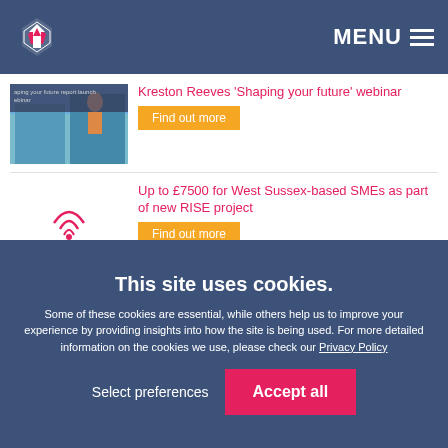MENU
Kreston Reeves 'Shaping your future' webinar — Find out more
[Figure (photo): Thumbnail image for shaping your future report launch webinar with person and building]
Up to £7500 for West Sussex-based SMEs as part of new RISE project — Find out more
[Figure (logo): RISE Research and Innovation logo with sponsor logos]
Major new industrial development in Burgess Hill
[Figure (photo): Thumbnail of industrial building with blue sky]
This site uses cookies.
Some of these cookies are essential, while others help us to improve your experience by providing insights into how the site is being used. For more detailed information on the cookies we use, please check our Privacy Policy
Select preferences
Accept all